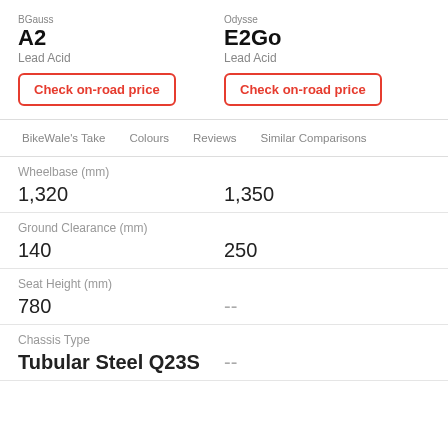BGauss
A2
Lead Acid
Odysse
E2Go
Lead Acid
Check on-road price
Check on-road price
BikeWale's Take   Colours   Reviews   Similar Comparisons
| Spec | BGauss A2 | Odysse E2Go |
| --- | --- | --- |
| Wheelbase (mm) | 1,320 | 1,350 |
| Ground Clearance (mm) | 140 | 250 |
| Seat Height (mm) | 780 | -- |
| Chassis Type | Tubular Steel Q23S | -- |